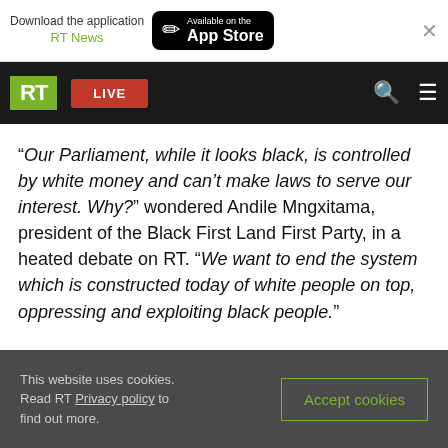[Figure (screenshot): App store download banner with RT News logo and Available on the App Store button]
[Figure (screenshot): RT website navigation bar with green RT logo, red LIVE button, search and menu icons on black background]
“Our Parliament, while it looks black, is controlled by white money and can’t make laws to serve our interest. Why?” wondered Andile Mngxitama, president of the Black First Land First Party, in a heated debate on RT. “We want to end the system which is constructed today of white people on top, oppressing and exploiting black people.”
This website uses cookies. Read RT Privacy policy to find out more.